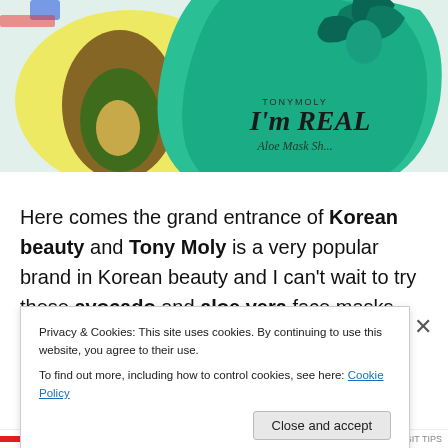[Figure (photo): Close-up photo of Tony Moly I'm Real face mask packaging, showing avocado and aloe vera themed mask sheets with illustrated artwork on a green and yellow background]
Here comes the grand entrance of Korean beauty and Tony Moly is a very popular brand in Korean beauty and I can't wait to try these avocado and aloe vera face masks.
Tony Moly Peach Lip Peousse Face Patch
Privacy & Cookies: This site uses cookies. By continuing to use this website, you agree to their use.
To find out more, including how to control cookies, see here: Cookie Policy